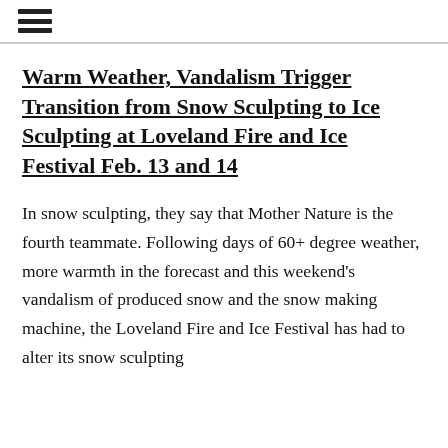☰
Warm Weather, Vandalism Trigger Transition from Snow Sculpting to Ice Sculpting at Loveland Fire and Ice Festival Feb. 13 and 14
In snow sculpting, they say that Mother Nature is the fourth teammate. Following days of 60+ degree weather, more warmth in the forecast and this weekend's vandalism of produced snow and the snow making machine, the Loveland Fire and Ice Festival has had to alter its snow sculpting